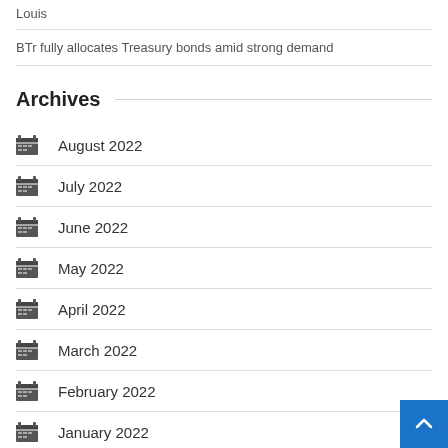Louis
BTr fully allocates Treasury bonds amid strong demand
Archives
August 2022
July 2022
June 2022
May 2022
April 2022
March 2022
February 2022
January 2022